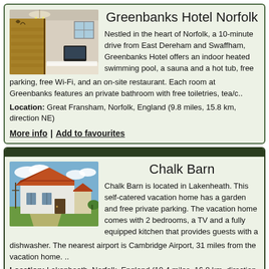Greenbanks Hotel Norfolk
[Figure (photo): Interior photo of Greenbanks Hotel showing a room with wooden staircase, chandelier, TV, and bed]
Nestled in the heart of Norfolk, a 10-minute drive from East Dereham and Swaffham, Greenbanks Hotel offers an indoor heated swimming pool, a sauna and a hot tub, free parking, free Wi-Fi, and an on-site restaurant. Each room at Greenbanks features an private bathroom with free toiletries, tea/c..
Location: Great Fransham, Norfolk, England (9.8 miles, 15.8 km, direction NE)
More info | Add to favourites
Chalk Barn
[Figure (photo): Exterior photo of Chalk Barn, a white painted barn conversion with red tile roof, garden and driveway]
Chalk Barn is located in Lakenheath. This self-catered vacation home has a garden and free private parking. The vacation home comes with 2 bedrooms, a TV and a fully equipped kitchen that provides guests with a dishwasher. The nearest airport is Cambridge Airport, 31 miles from the vacation home. ..
Location: Lakenheath, Norfolk, England (10.4 miles, 16.8 km, direction S)